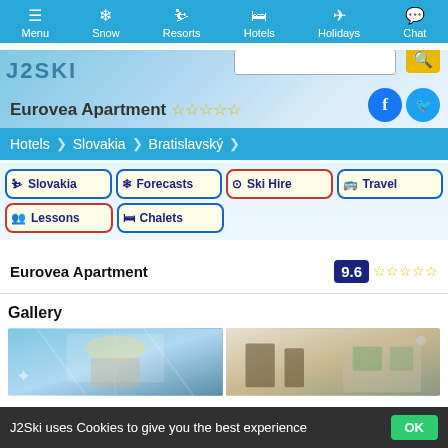Menu | Snow | Resorts | Hotels | Holidays | Chat
Eurovea Apartment ☆☆☆☆☆
Hotels > Slovakia > Bratislavský
Slovakia
Forecasts
Ski Hire
Travel
Lessons
Chalets
Eurovea Apartment  9.6 ☆☆☆☆☆
Gallery
[Figure (photo): Gallery image left: shopping mall / arcade interior with decorative chandelier]
[Figure (photo): Gallery image right: hotel room / lobby interior with modern decor]
J2Ski uses Cookies to give you the best experience  OK